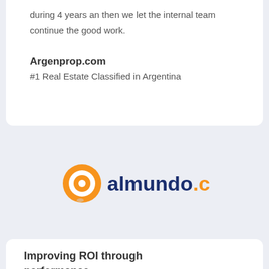during 4 years an then we let the internal team continue the good work.
Argenprop.com
#1 Real Estate Classified in Argentina
[Figure (logo): almundo.com logo with orange circle/target icon and dark blue text 'almundo' followed by orange '.com']
Improving ROI through performance